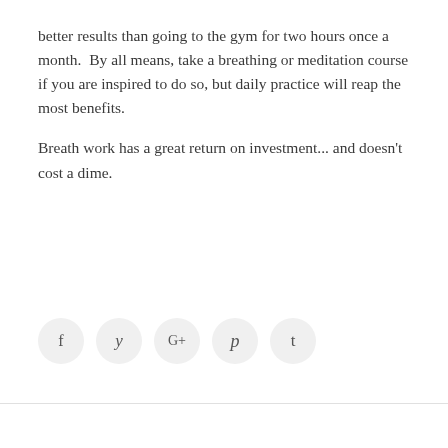better results than going to the gym for two hours once a month.  By all means, take a breathing or meditation course if you are inspired to do so, but daily practice will reap the most benefits.

Breath work has a great return on investment... and doesn't cost a dime.
[Figure (other): Social media share buttons: Facebook (f), Twitter (bird/y), Google+ (G+), Pinterest (p), Tumblr (t) — five circular light-gray buttons in a row]